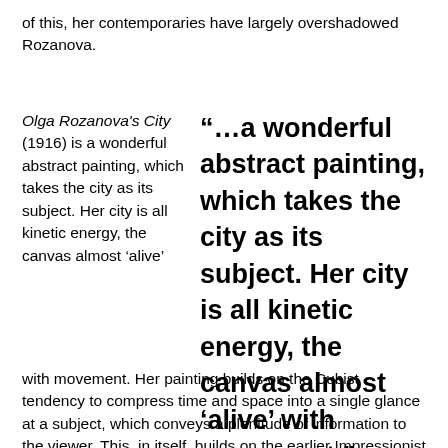of this, her contemporaries have largely overshadowed Rozanova.
Olga Rozanova's City (1916) is a wonderful abstract painting, which takes the city as its subject. Her city is all kinetic energy, the canvas almost 'alive' with movement.
“…a wonderful abstract painting, which takes the city as its subject. Her city is all kinetic energy, the canvas almost ‘alive’ with movement.”
with movement. Her painting builds on the Cubist tendency to compress time and space into a single glance at a subject, which conveys a plenitude of information to the viewer. This, in itself, builds on the earlier Impressionist technique, which